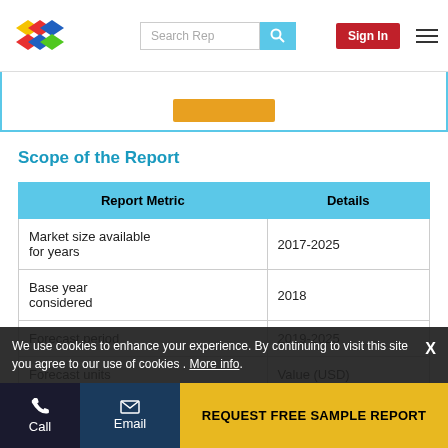Search Rep | Sign In
Scope of the Report
| Report Metric | Details |
| --- | --- |
| Market size available for years | 2017-2025 |
| Base year considered | 2018 |
| Forecast period | 2019-2025 |
| Forecast units | Value (USD) |
We use cookies to enhance your experience. By continuing to visit this site you agree to our use of cookies . More info.
Call | Email | REQUEST FREE SAMPLE REPORT